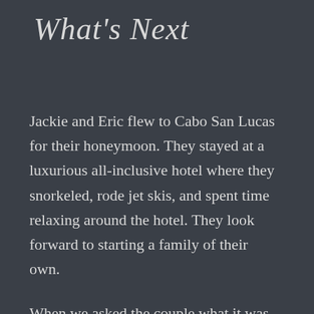What's Next
Jackie and Eric flew to Cabo San Lucas for their honeymoon. They stayed at a luxurious all-inclusive hotel where they snorkeled, rode jet skis, and spent time relaxing around the hotel. They look forward to starting a family of their own.
When we asked the couple what it was like working with Aflatis, they